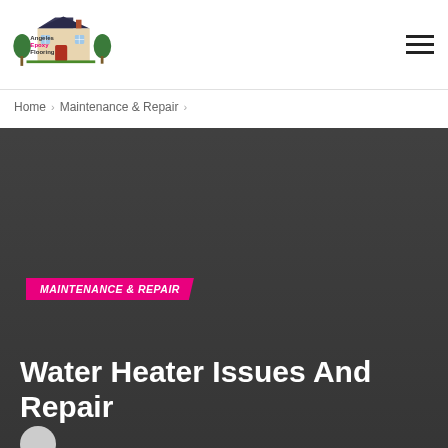[Figure (logo): Angeles Epoxy Flooring logo — illustrated house with trees and red door, company name text beside it]
Home > Maintenance & Repair >
[Figure (photo): Dark gray hero background image for article header]
MAINTENANCE & REPAIR
Water Heater Issues And Repair
LAST UPDATED APR 10, 2018